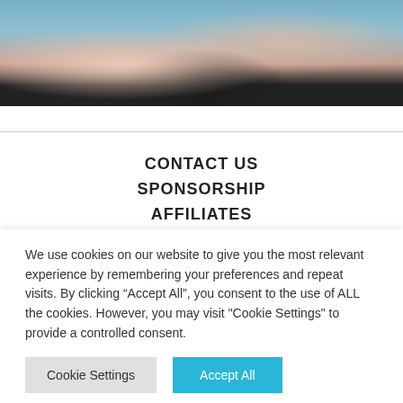[Figure (photo): Partial photo showing a person in a light blue top and dark pants, with hands clasped, seated, cropped at the top of the page.]
CONTACT US
SPONSORSHIP
AFFILIATES
VOLUNTEER
ACCEPTABLE USE POLICY
We use cookies on our website to give you the most relevant experience by remembering your preferences and repeat visits. By clicking “Accept All”, you consent to the use of ALL the cookies. However, you may visit "Cookie Settings" to provide a controlled consent.
Cookie Settings
Accept All